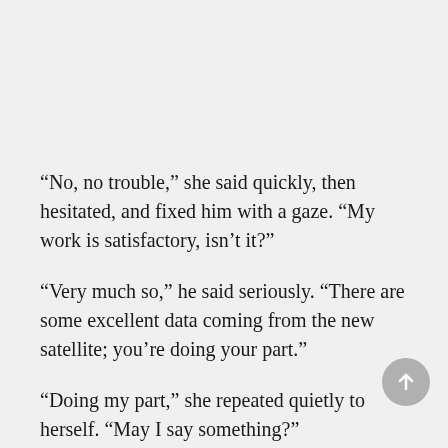“No, no trouble,” she said quickly, then hesitated, and fixed him with a gaze. “My work is satisfactory, isn’t it?”
“Very much so,” he said seriously. “There are some excellent data coming from the new satellite; you’re doing your part.”
“Doing my part,” she repeated quietly to herself. “May I say something?”
He nodded. There was something she